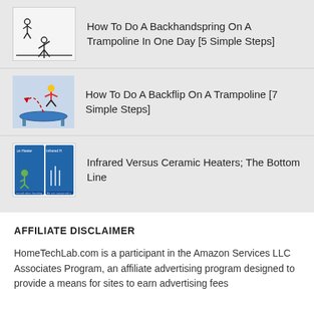[Figure (illustration): Illustration of a person doing a backhandspring on a trampoline]
How To Do A Backhandspring On A Trampoline In One Day [5 Simple Steps]
[Figure (illustration): Illustration of a person doing a backflip on a trampoline with dashed motion arc]
How To Do A Backflip On A Trampoline [7 Simple Steps]
[Figure (illustration): Comparison image of infrared versus ceramic heater]
Infrared Versus Ceramic Heaters; The Bottom Line
AFFILIATE DISCLAIMER
HomeTechLab.com is a participant in the Amazon Services LLC Associates Program, an affiliate advertising program designed to provide a means for sites to earn advertising fees